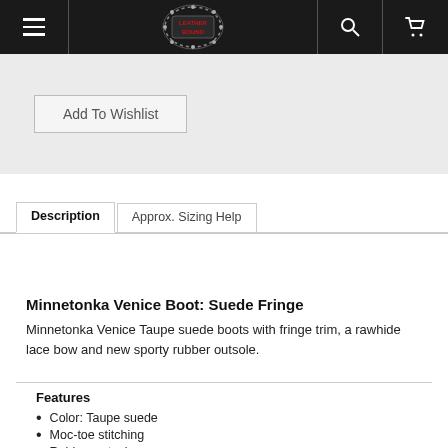[Figure (logo): Leather Bound store logo — a championship belt badge with studded border and red text on dark background, centered in the navigation bar]
Add To Wishlist
Description
Approx. Sizing Help
Minnetonka Venice Boot: Suede Fringe
Minnetonka Venice Taupe suede boots with fringe trim, a rawhide lace bow and new sporty rubber outsole.
Features
Color: Taupe suede
Moc-toe stitching
Rubber outsole